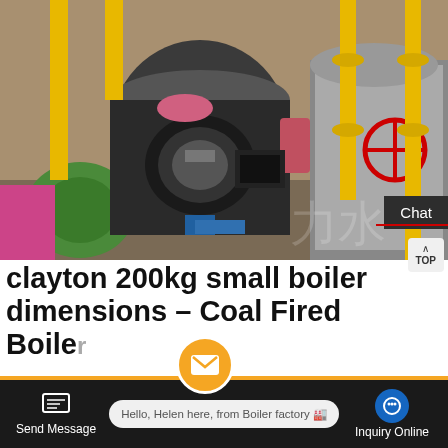[Figure (photo): Industrial boiler room with yellow pipes, large cylindrical steam boilers, valves, and flanges in a factory setting]
clayton 200kg small boiler dimensions – Coal Fired Boiler
Apr 25, 2021 · clayton 200kg small boiler dimensions Coal Fired Boiler Manufacturer is simple and efficient on the market. • LESS WATER LOW WEIGHT. Cost Contact effective and compact in size, combi boilers are ideally
Hello, Helen here, from Boiler factory 🏭
Send Message
Inquiry Online